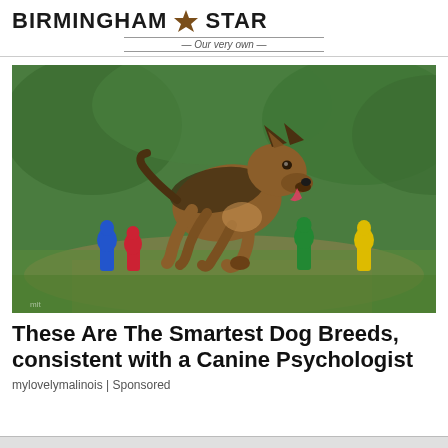BIRMINGHAM STAR — Our very own
[Figure (photo): A German Shepherd dog running outdoors on grass, jumping over colorful game pieces (blue, red, green, and yellow bowling-pin shaped figures).]
These Are The Smartest Dog Breeds, consistent with a Canine Psychologist
mylovelymalinois | Sponsored